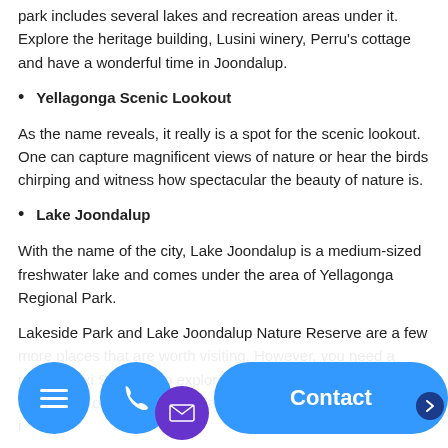park includes several lakes and recreation areas under it. Explore the heritage building, Lusini winery, Perru's cottage and have a wonderful time in Joondalup.
Yellagonga Scenic Lookout
As the name reveals, it really is a spot for the scenic lookout. One can capture magnificent views of nature or hear the birds chirping and witness how spectacular the beauty of nature is.
Lake Joondalup
With the name of the city, Lake Joondalup is a medium-sized freshwater lake and comes under the area of Yellagonga Regional Park.
Lakeside Park and Lake Joondalup Nature Reserve are a few more places that are worth visiting. However, you need a reliable taxi Services to explore all the places or too reach from Perth or return there. MaxiPortBees is a service provider i…
[Figure (screenshot): Bottom navigation bar with menu (hamburger), phone, email (purple envelope) circle buttons on the left and a large blue 'Contact' pill button on the right]